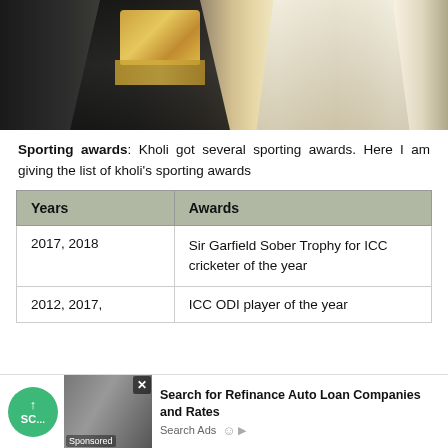[Figure (photo): Two people in a formal ceremony, one in a dark suit and one in light/white clothing, appearing to exchange or present an award with gold-tasseled decoration.]
Sporting awards: Kholi got several sporting awards. Here I am giving the list of kholi's sporting awards
| Years | Awards |
| --- | --- |
| 2017, 2018 | Sir Garfield Sober Trophy for ICC cricketer of the year |
| 2012, 2017, | ICC ODI player of the year |